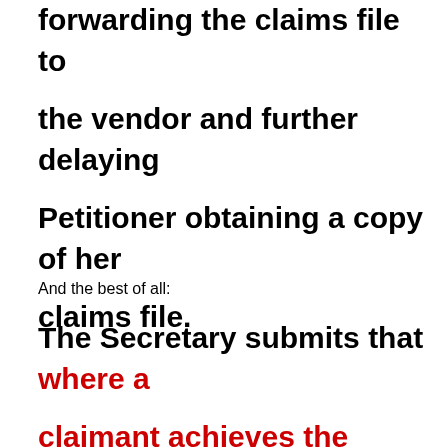forwarding the claims file to the vendor and further delaying Petitioner obtaining a copy of her claims file.
And the best of all:
The Secretary submits that where a claimant achieves the result desired in